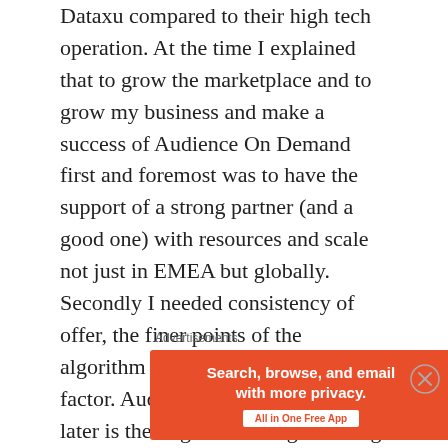Dataxu compared to their high tech operation. At the time I explained that to grow the marketplace and to grow my business and make a success of Audience On Demand first and foremost was to have the support of a strong partner (and a good one) with resources and scale not just in EMEA but globally. Secondly I needed consistency of offer, the finer points of the algorithm would not be the defining factor. Audience On Demand a year later is the largest Exchange Trading proposition in the world and we are delivering fantastic results and have some very smart people working for us so I feel pretty vindicated in my approach. It is therefore enlightening to now see Dataxu resort to buying Mexad to be able to deliver service and people.
Advertisements
[Figure (other): DuckDuckGo advertisement banner with orange background. Text reads: 'Search, browse, and email with more privacy. All in One Free App' on the left side. DuckDuckGo logo with duck icon on black background on the right side.]